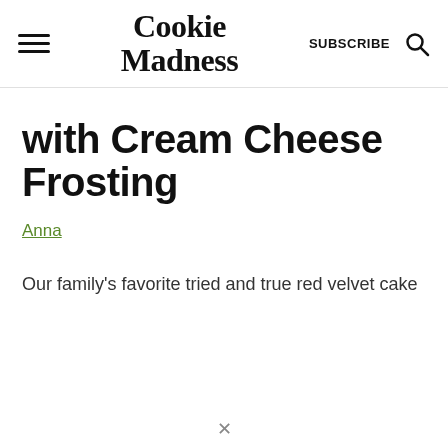Cookie Madness | SUBSCRIBE
with Cream Cheese Frosting
Anna
Our family's favorite tried and true red velvet cake